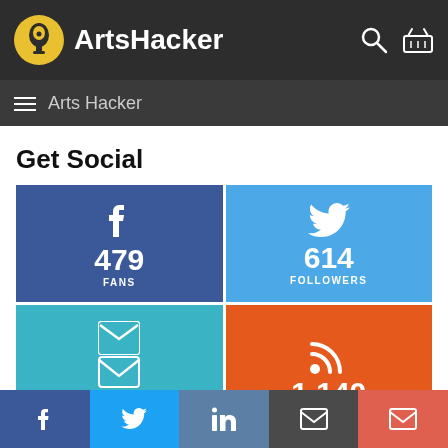ArtsHacker
Arts Hacker
Get Social
[Figure (infographic): Social media stats grid: Facebook 479 Fans, Twitter 614 Followers, Email 1,450 Email Subscribers, RSS 1,140 Subscribers]
Facebook | Twitter | LinkedIn | Email | Envelope